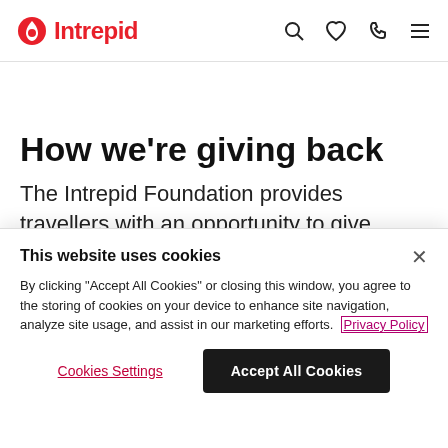Intrepid
How we're giving back
The Intrepid Foundation provides travellers with an opportunity to give something back to the many wonderful communities we travel to. Each year
This website uses cookies
By clicking "Accept All Cookies" or closing this window, you agree to the storing of cookies on your device to enhance site navigation, analyze site usage, and assist in our marketing efforts. Privacy Policy
Cookies Settings
Accept All Cookies